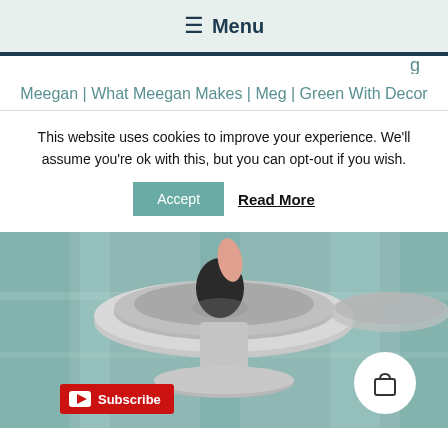☰ Menu
g
Meegan | What Meegan Makes | Meg | Green With Decor
This website uses cookies to improve your experience. We'll assume you're ok with this, but you can opt-out if you wish.
Accept   Read More
[Figure (photo): A decorative concrete or stone pedestal dish on a teal/painted wood surface, with a black egg-shaped object being placed inside, finger visible. YouTube Subscribe badge and shopping cart icon overlay.]